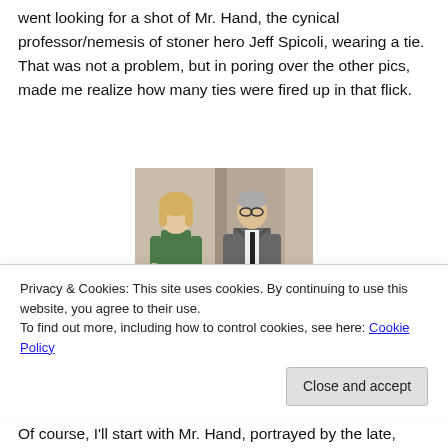went looking for a shot of Mr. Hand, the cynical professor/nemesis of stoner hero Jeff Spicoli, wearing a tie. That was not a problem, but in poring over the other pics, made me realize how many ties were fired up in that flick.
[Figure (photo): A young woman in a green top and shorts standing next to an older man in a grey suit, indoors, appearing to be a movie still.]
Privacy & Cookies: This site uses cookies. By continuing to use this website, you agree to their use.
To find out more, including how to control cookies, see here: Cookie Policy
Of course, I'll start with Mr. Hand, portrayed by the late,